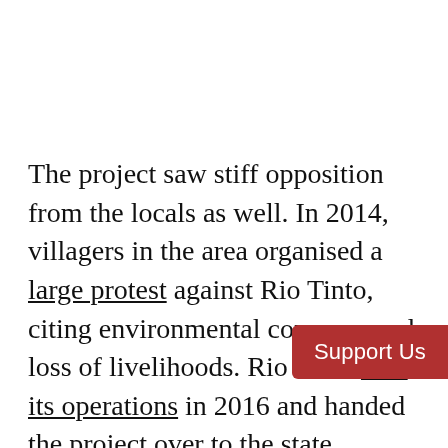The project saw stiff opposition from the locals as well. In 2014, villagers in the area organised a large protest against Rio Tinto, citing environmental concerns and loss of livelihoods. Rio Tinto shut its operations in 2016 and handed the project over to the state.
“Our exit from Bunder is the latest exam[ple of Rio] Tinto streamlining its asset portfolio. It simplifies our business, allowing us to focus on our world-class assets,” Rio Tinto chief executive Arnaud